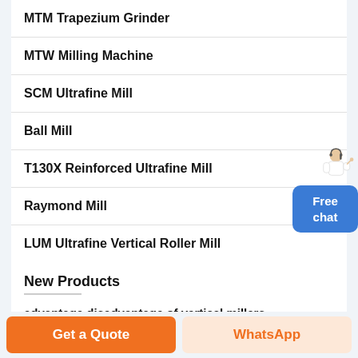MTM Trapezium Grinder
MTW Milling Machine
SCM Ultrafine Mill
Ball Mill
T130X Reinforced Ultrafine Mill
Raymond Mill
LUM Ultrafine Vertical Roller Mill
New Products
advantage disadvantage of vertical millers
[Figure (illustration): Customer service representative figure with Free chat button overlay]
Get a Quote
WhatsApp